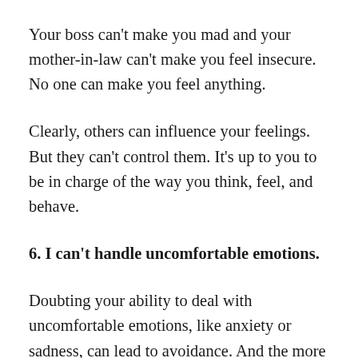Your boss can't make you mad and your mother-in-law can't make you feel insecure. No one can make you feel anything.
Clearly, others can influence your feelings. But they can't control them. It's up to you to be in charge of the way you think, feel, and behave.
6. I can't handle uncomfortable emotions.
Doubting your ability to deal with uncomfortable emotions, like anxiety or sadness, can lead to avoidance. And the more you avoid discomfort, the less confidence you'll have in